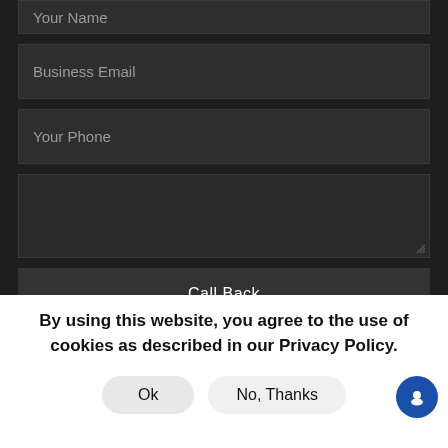Your Name
Business Email
Your Phone
Call Back
By using this website, you agree to the use of cookies as described in our Privacy Policy.
Ok
No, Thanks